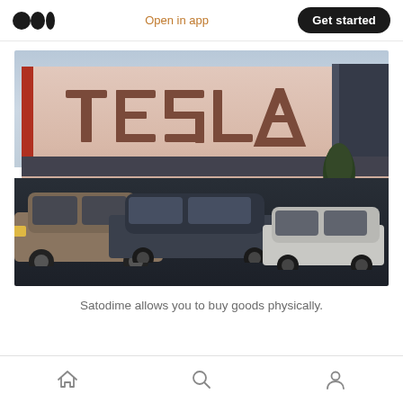Open in app  Get started
[Figure (photo): Tesla factory building with large TESLA letters on the facade, cars parked in foreground lot, cloudy sky background]
Satodime allows you to buy goods physically.
Home  Search  Profile navigation icons